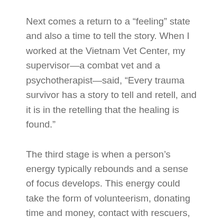Next comes a return to a “feeling” state and also a time to tell the story. When I worked at the Vietnam Vet Center, my supervisor—a combat vet and a psychotherapist—said, “Every trauma survivor has a story to tell and retell, and it is in the retelling that the healing is found.”
The third stage is when a person’s energy typically rebounds and a sense of focus develops. This energy could take the form of volunteerism, donating time and money, contact with rescuers, or helping other survivors.
Finally, reintegration must take place. A person must accept life on life’s terms now. Meaning is incorporated in life, in absence of what they lost